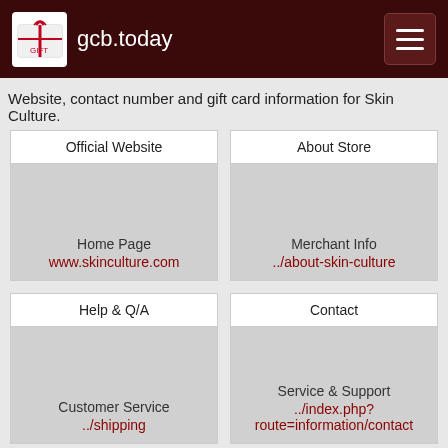gcb.today
Website, contact number and gift card information for Skin Culture.
| Official Website | About Store |
| --- | --- |
| Home Page
www.skinculture.com | Merchant Info
../about-skin-culture |
| Help & Q/A | Contact |
| --- | --- |
| Customer Service
../shipping | Service & Support
../index.php?route=information/contact |